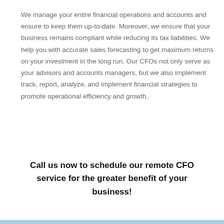We manage your entire financial operations and accounts and ensure to keep them up-to-date. Moreover, we ensure that your business remains compliant while reducing its tax liabilities. We help you with accurate sales forecasting to get maximum returns on your investment in the long run. Our CFOs not only serve as your advisors and accounts managers, but we also implement track, report, analyze, and implement financial strategies to promote operational efficiency and growth.
Call us now to schedule our remote CFO service for the greater benefit of your business!